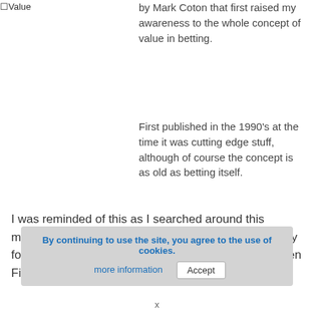[Figure (other): Broken image placeholder with alt text 'Value']
by Mark Coton that first raised my awareness to the whole concept of value in betting.
First published in the 1990's at the time it was cutting edge stuff, although of course the concept is as old as betting itself.
I was reminded of this as I searched around this morning for something to write about (bit of a slow day for racing) and I noticed a headline shoutin that Golden Firebird is the most tipped horse today.
By continuing to use the site, you agree to the use of cookies.
more information  Accept